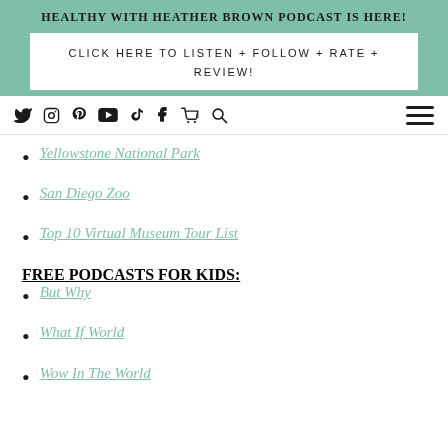HEALTHY WITH HEATHER BROWN PODCAST IS HERE!
CLICK HERE TO LISTEN + FOLLOW + RATE + REVIEW!
[Figure (screenshot): Navigation bar with social media icons: Twitter, Instagram, Pinterest, YouTube, TikTok, Facebook, Cart, Search, and hamburger menu]
Yellowstone National Park
San Diego Zoo
Top 10 Virtual Museum Tour List
FREE PODCASTS FOR KIDS:
But Why
What If World
Wow In The World